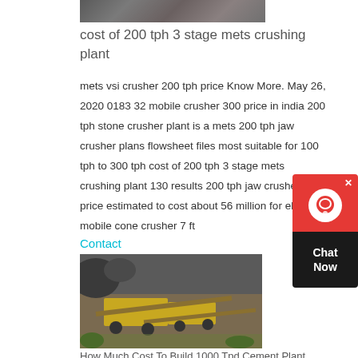[Figure (photo): Partial view of a quarry or mining site, cropped at top of page]
cost of 200 tph 3 stage mets crushing plant
mets vsi crusher 200 tph price Know More. May 26, 2020 0183 32 mobile crusher 300 price in india 200 tph stone crusher plant is a mets 200 tph jaw crusher plans flowsheet files most suitable for 100 tph to 300 tph cost of 200 tph 3 stage mets crushing plant 130 results 200 tph jaw crusher plant price estimated to cost about 56 million for el jay mobile cone crusher 7 ft
Contact
[Figure (photo): Yellow mobile crushing plant machinery at a quarry/mining site with conveyor belts]
How Much Cost To Build 1000 Tpd Cement Plant